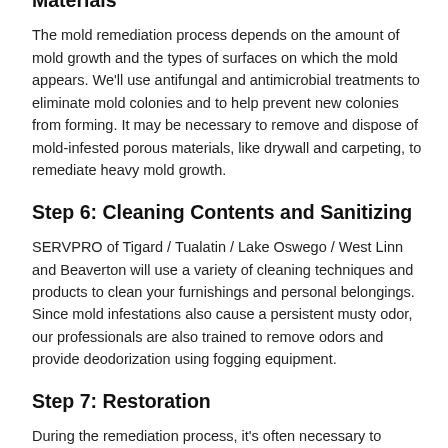Materials
The mold remediation process depends on the amount of mold growth and the types of surfaces on which the mold appears. We'll use antifungal and antimicrobial treatments to eliminate mold colonies and to help prevent new colonies from forming. It may be necessary to remove and dispose of mold-infested porous materials, like drywall and carpeting, to remediate heavy mold growth.
Step 6: Cleaning Contents and Sanitizing
SERVPRO of Tigard / Tualatin / Lake Oswego / West Linn and Beaverton will use a variety of cleaning techniques and products to clean your furnishings and personal belongings. Since mold infestations also cause a persistent musty odor, our professionals are also trained to remove odors and provide deodorization using fogging equipment.
Step 7: Restoration
During the remediation process, it's often necessary to remove porous building materials like subfloors, drywall, and carpet. The restoration step returns your Tigard, OR home or